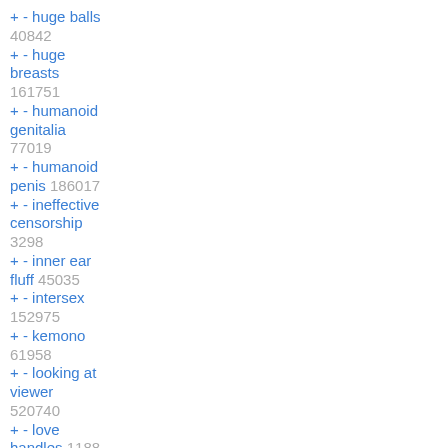+ - huge balls 40842
+ - huge breasts 161751
+ - humanoid genitalia 77019
+ - humanoid penis 186017
+ - ineffective censorship 3298
+ - inner ear fluff 45035
+ - intersex 152975
+ - kemono 61958
+ - looking at viewer 520740
+ - love handles 1188
+ - mammal 2112806
+ - monotone ears 2139
+ - monotone hair 3205